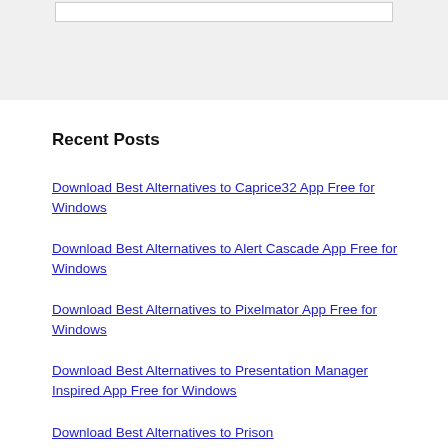Recent Posts
Download Best Alternatives to Caprice32 App Free for Windows
Download Best Alternatives to Alert Cascade App Free for Windows
Download Best Alternatives to Pixelmator App Free for Windows
Download Best Alternatives to Presentation Manager Inspired App Free for Windows
Download Best Alternatives to Prison